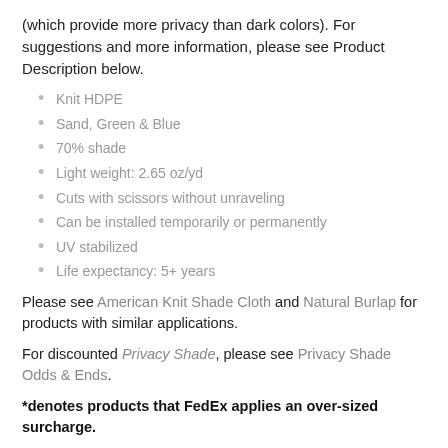(which provide more privacy than dark colors). For suggestions and more information, please see Product Description below.
Knit HDPE
Sand, Green & Blue
70% shade
Light weight: 2.65 oz/yd
Cuts with scissors without unraveling
Can be installed temporarily or permanently
UV stabilized
Life expectancy: 5+ years
Please see American Knit Shade Cloth and Natural Burlap for products with similar applications.
For discounted Privacy Shade, please see Privacy Shade Odds & Ends.
*denotes products that FedEx applies an over-sized surcharge.